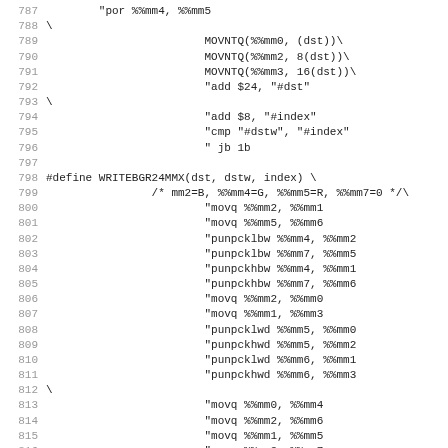Source code listing lines 787-819, showing C preprocessor macros with MMX assembly instructions for WRITEBGR24MMX.